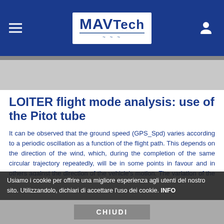MAV Tech
LOITER flight mode analysis: use of the Pitot tube
It can be observed that the ground speed (GPS_Spd) varies according to a periodic oscillation as a function of the flight path. This depends on the direction of the wind, which, during the completion of the same circular trajectory repeatedly, will be in some points in favour and in others against the direction of the vehicle's motion. The variation of the vehicle's momentum during the advancement of the trajectory and the areas in which it is upwind are thus observed.
Usiamo i cookie per offrire una migliore esperienza agli utenti del nostro sito. Utilizzandolo, dichiari di accettare l'uso dei cookie. INFO
CHIUDI